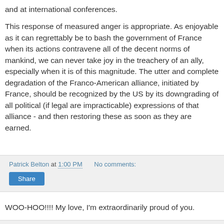and at international conferences.
This response of measured anger is appropriate. As enjoyable as it can regrettably be to bash the government of France when its actions contravene all of the decent norms of mankind, we can never take joy in the treachery of an ally, especially when it is of this magnitude. The utter and complete degradation of the Franco-American alliance, initiated by France, should be recognized by the US by its downgrading of all political (if legal are impracticable) expressions of that alliance - and then restoring these as soon as they are earned.
Patrick Belton at 1:00 PM   No comments:
Share
WOO-HOO!!!! My love, I'm extraordinarily proud of you.